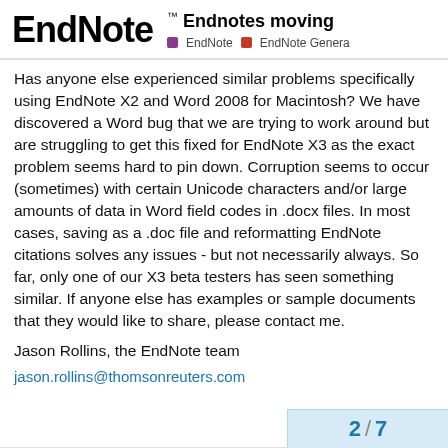EndNote™ Endnotes moving — EndNote | EndNote General
Has anyone else experienced similar problems specifically using EndNote X2 and Word 2008 for Macintosh? We have discovered a Word bug that we are trying to work around but are struggling to get this fixed for EndNote X3 as the exact problem seems hard to pin down. Corruption seems to occur (sometimes) with certain Unicode characters and/or large amounts of data in Word field codes in .docx files. In most cases, saving as a .doc file and reformatting EndNote citations solves any issues - but not necessarily always. So far, only one of our X3 beta testers has seen something similar. If anyone else has examples or sample documents that they would like to share, please contact me.
Jason Rollins, the EndNote team
jason.rollins@thomsonreuters.com
2 / 7